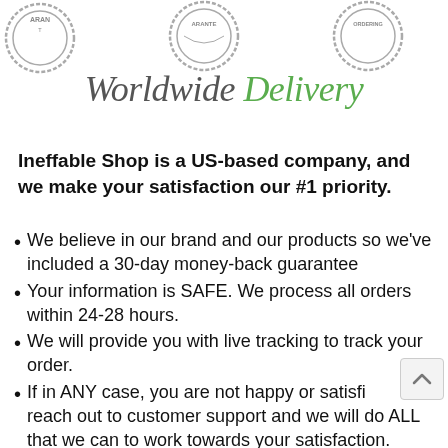[Figure (illustration): Three circular stamp/badge logos at the top: partial guarantee badge on left, full guarantee badge in center, and ordering badge on right]
Worldwide Delivery
Ineffable Shop is a US-based company, and we make your satisfaction our #1 priority.
We believe in our brand and our products so we've included a 30-day money-back guarantee
Your information is SAFE. We process all orders within 24-28 hours.
We will provide you with live tracking to track your order.
If in ANY case, you are not happy or satisfied, reach out to customer support and we will do ALL that we can to work towards your satisfaction.
We have a support team that will respond to